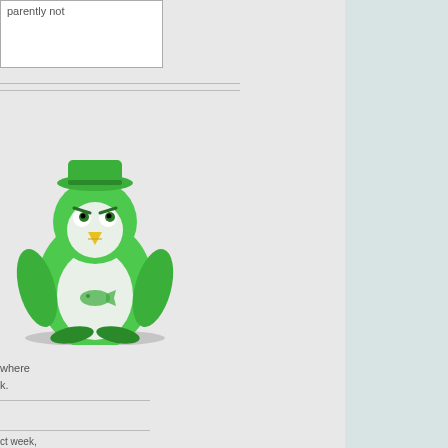parently not
[Figure (illustration): Green Linux Tux penguin mascot illustration, colored green instead of the usual black and white, wearing a small green hat, with a green fish-like design on its belly, standing upright]
where
k.
ct week,
ere
l l